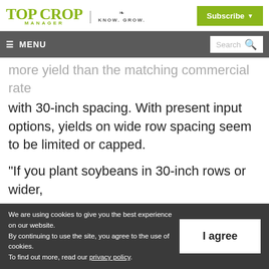Top Crop Manager | KNOW. GROW. | Subscribe
≡ MENU | Search
more yield than the matching commercial rate with 30-inch spacing. With present input options, yields on wide row spacing seem to be limited or capped.
“If you plant soybeans in 30-inch rows or wider,
We are using cookies to give you the best experience on our website. By continuing to use the site, you agree to the use of cookies. To find out more, read our privacy policy.